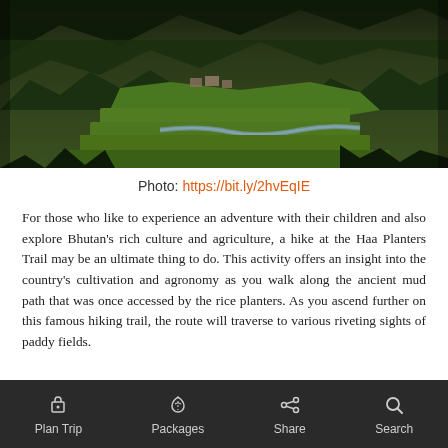[Figure (photo): Aerial/elevated view of Haa Valley, Bhutan, showing green terraced fields, a winding river, forested hills and mountains in the background, with traditional buildings visible.]
Photo: https://bit.ly/2hvEqIE
For those who like to experience an adventure with their children and also explore Bhutan's rich culture and agriculture, a hike at the Haa Planters Trail may be an ultimate thing to do. This activity offers an insight into the country's cultivation and agronomy as you walk along the ancient mud path that was once accessed by the rice planters. As you ascend further on this famous hiking trail, the route will traverse to various riveting sights of paddy fields.
A hike up at the Haa Valley also takes you across
Plan Trip   Packages   Share   Search